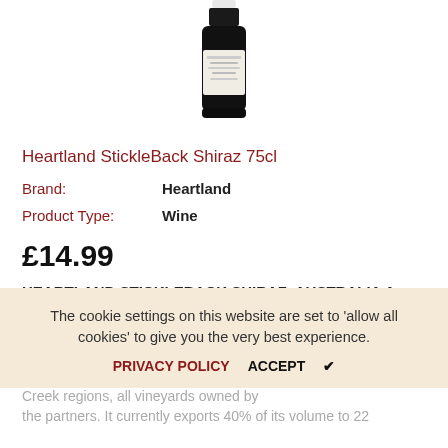[Figure (photo): Top portion of a dark wine bottle with white label, partially visible]
Heartland StickleBack Shiraz 75cl
| Brand: | Heartland |
| Product Type: | Wine |
£14.99
HEARTLAND STICKLEBACK SHIRAZ, AUSTRALIA A joint venture of industry veterans; winemakers Ben Glaetzer and Scott Collett, and wine industry management specialist Grant Tilbrook. Heartland uses grapes grown in the Limestone Coast and Langhorne Creek regions, all vineyards owned by the partners. It currently exports 40% of its volume to 22...
The cookie settings on this website are set to 'allow all cookies' to give you the very best experience.
PRIVACY POLICY   ACCEPT ✔